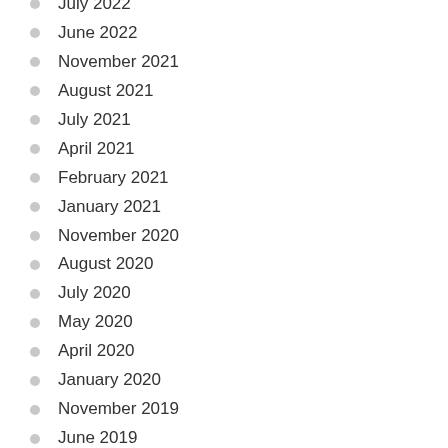July 2022
June 2022
November 2021
August 2021
July 2021
April 2021
February 2021
January 2021
November 2020
August 2020
July 2020
May 2020
April 2020
January 2020
November 2019
June 2019
May 2019
April 2019